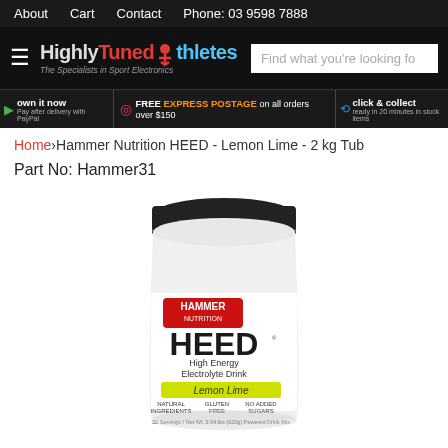About  Cart  Contact  Phone: 03 9598 7888
[Figure (logo): Highly Tuned Athletes logo with tagline 'The Specialists in Sport Electronics' and search bar showing 'Find what you're looking fo']
own it now | FREE EXPRESS POSTAGE on all orders over $150 | click & collect
Home›Hammer Nutrition HEED - Lemon Lime - 2 kg Tub
Part No: Hammer31
[Figure (photo): White cylindrical tub with black lid. Label shows Hammer Nutrition HEED - High Energy Electrolyte Drink - Lemon Lime. Natural Ingredients, Gluten Free, No Added Sugars. 32 Servings / Net Wt. 2.04 lbs (920g).]